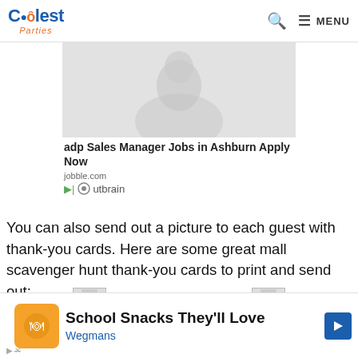Coolest Parties — MENU
[Figure (photo): Gray gradient advertisement image, partial person silhouette visible]
adp Sales Manager Jobs in Ashburn Apply Now
jobble.com
Outbrain
You can also send out a picture to each guest with thank-you cards. Here are some great mall scavenger hunt thank-you cards to print and send out:
We use cookies to ensure that we give you the best experience on our website. If you continue to use this site we will assume that you are happy with it.
[Figure (photo): Printable Credit Card Thank-Yous thumbnail images (partially visible)]
School Snacks They'll Love
Wegmans